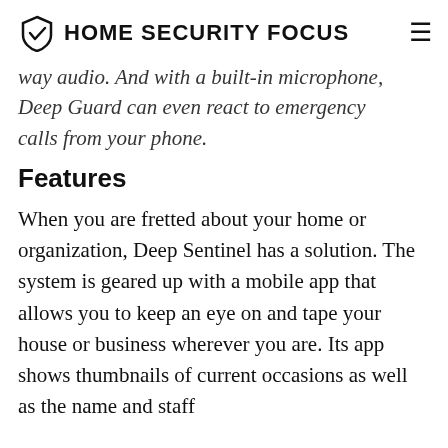HOME SECURITY FOCUS
way audio. And with a built-in microphone, Deep Guard can even react to emergency calls from your phone.
Features
When you are fretted about your home or organization, Deep Sentinel has a solution. The system is geared up with a mobile app that allows you to keep an eye on and tape your house or business wherever you are. Its app shows thumbnails of current occasions as well as the name and staff